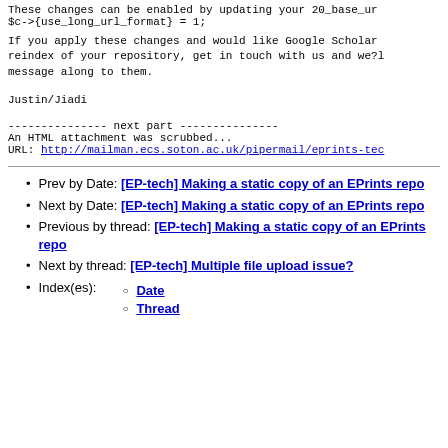These changes can be enabled by updating your 20_base_ur
$c->{use_long_url_format} = 1;
If you apply these changes and would like Google Scholar
reindex of your repository, get in touch with us and we?l
message along to them.
Justin/Jiadi
--------------- next part ---------------
An HTML attachment was scrubbed...
URL: http://mailman.ecs.soton.ac.uk/pipermail/eprints-tec
Prev by Date: [EP-tech] Making a static copy of an EPrints repo
Next by Date: [EP-tech] Making a static copy of an EPrints repo
Previous by thread: [EP-tech] Making a static copy of an EPrints repo
Next by thread: [EP-tech] Multiple file upload issue?
Index(es): Date, Thread